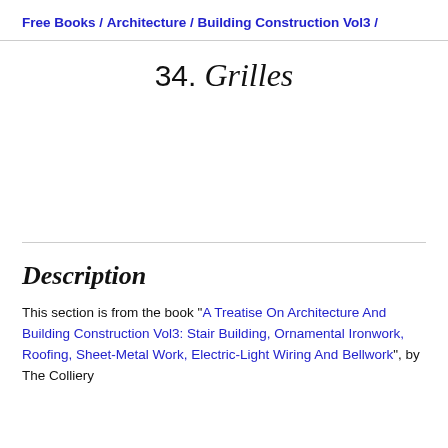Free Books / Architecture / Building Construction Vol3 /
34. Grilles
Description
This section is from the book "A Treatise On Architecture And Building Construction Vol3: Stair Building, Ornamental Ironwork, Roofing, Sheet-Metal Work, Electric-Light Wiring And Bellwork", by The Colliery